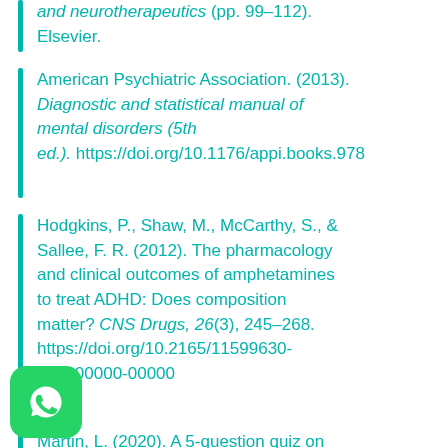and neurotherapeutics (pp. 99–112). Elsevier.
American Psychiatric Association. (2013). Diagnostic and statistical manual of mental disorders (5th ed.). https://doi.org/10.1176/appi.books.978
Hodgkins, P., Shaw, M., McCarthy, S., & Sallee, F. R. (2012). The pharmacology and clinical outcomes of amphetamines to treat ADHD: Does composition matter? CNS Drugs, 26(3), 245–268. https://doi.org/10.2165/11599630-000000000-00000
Martin, L. (2020). A 5-question quiz on ADHD. Psychiatric Times. https://www.psychiatrictimes.com/view/5-